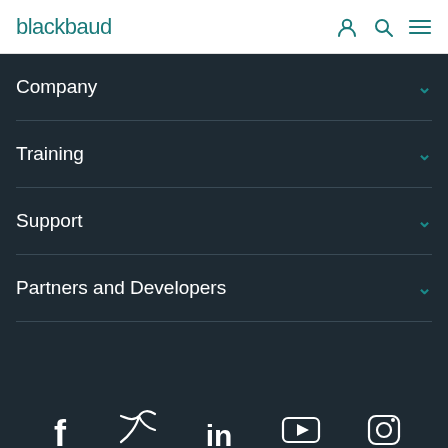blackbaud
Company
Training
Support
Partners and Developers
[Figure (infographic): Social media icons row: Facebook, Twitter, LinkedIn, YouTube, Instagram]